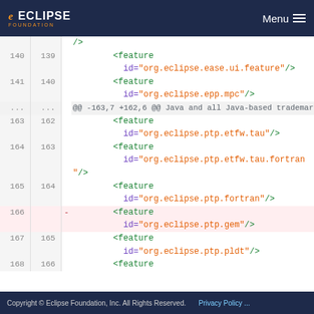Eclipse Foundation — Menu
[Figure (screenshot): A git diff view showing XML feature entries in a diff viewer. Lines show additions of XML feature id attributes for Eclipse plugins including org.eclipse.ease.ui.feature, org.eclipse.epp.mpc, org.eclipse.ptp.etfw.tau, org.eclipse.ptp.etfw.tau.fortran, org.eclipse.ptp.fortran, org.eclipse.ptp.gem (removed, highlighted in red), org.eclipse.ptp.pldt, and a partial view of another feature element.]
Copyright © Eclipse Foundation, Inc. All Rights Reserved.    Privacy Policy ...